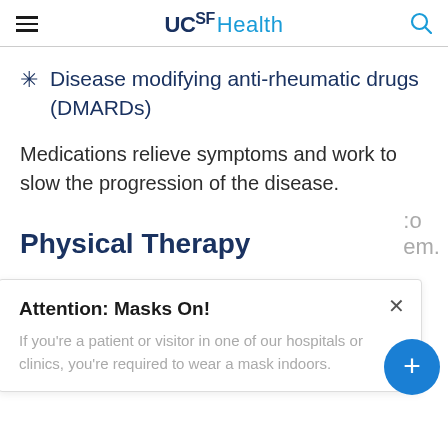UCSF Health
Disease modifying anti-rheumatic drugs (DMARDs)
Medications relieve symptoms and work to slow the progression of the disease.
Physical Therapy
Attention: Masks On! If you're a patient or visitor in one of our hospitals or clinics, you're required to wear a mask indoors.